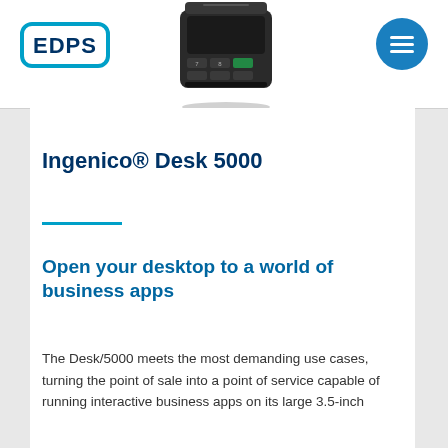[Figure (logo): EDPS logo: blue rounded rectangle with bold white text EDPS]
[Figure (photo): Ingenico Desk 5000 payment terminal device, dark gray, shown from above at an angle]
[Figure (other): Blue circular hamburger menu button with three white horizontal lines]
Ingenico® Desk 5000
Open your desktop to a world of business apps
The Desk/5000 meets the most demanding use cases, turning the point of sale into a point of service capable of running interactive business apps on its large 3.5-inch